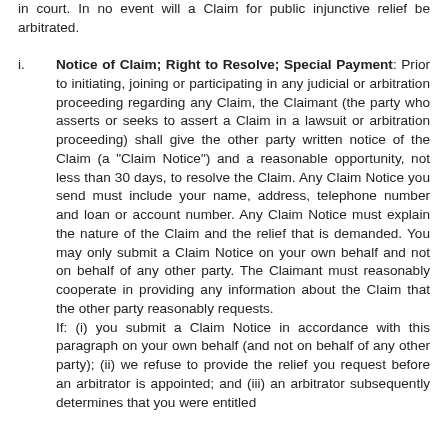in court. In no event will a Claim for public injunctive relief be arbitrated.
i. Notice of Claim; Right to Resolve; Special Payment: Prior to initiating, joining or participating in any judicial or arbitration proceeding regarding any Claim, the Claimant (the party who asserts or seeks to assert a Claim in a lawsuit or arbitration proceeding) shall give the other party written notice of the Claim (a "Claim Notice") and a reasonable opportunity, not less than 30 days, to resolve the Claim. Any Claim Notice you send must include your name, address, telephone number and loan or account number. Any Claim Notice must explain the nature of the Claim and the relief that is demanded. You may only submit a Claim Notice on your own behalf and not on behalf of any other party. The Claimant must reasonably cooperate in providing any information about the Claim that the other party reasonably requests. If: (i) you submit a Claim Notice in accordance with this paragraph on your own behalf (and not on behalf of any other party); (ii) we refuse to provide the relief you request before an arbitrator is appointed; and (iii) an arbitrator subsequently determines that you were entitled